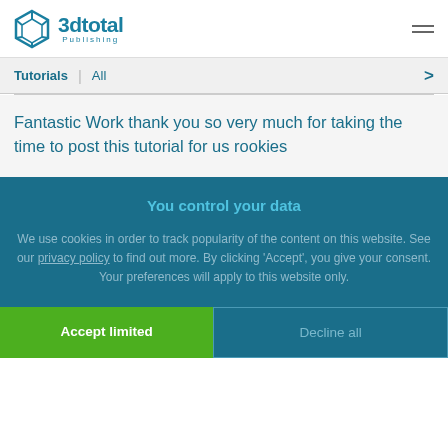3dtotal Publishing
Tutorials | All
Fantastic Work thank you so very much for taking the time to post this tutorial for us rookies
You control your data
We use cookies in order to track popularity of the content on this website. See our privacy policy to find out more. By clicking 'Accept', you give your consent. Your preferences will apply to this website only.
Accept limited
Decline all